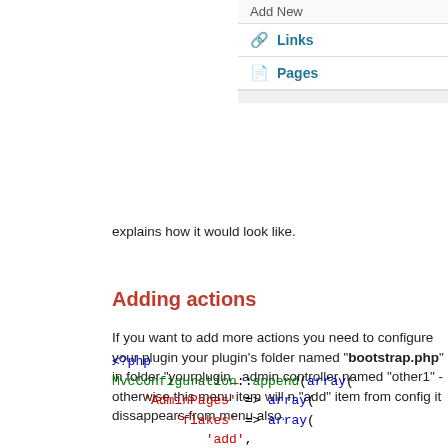[Figure (screenshot): WordPress admin sidebar screenshot showing 'Add New', 'Links' (with chain icon), and 'Pages' (with document icon) menu items in a light gray sidebar.]
explains how it would look like.
Adding actions
If you want to add more actions you need to configure your plugin your plugin's folder named "bootstrap.php" in folder "yourplugin_ admin controller named "other1" - otherwise this menu item will n "add" item from config it dissappears from menu also.
<?php
MvcConfiguration::append(array(
    'AdminPages' => array(
        'flakes' => array(
            'add',
            'other1',
        ),
    )
));